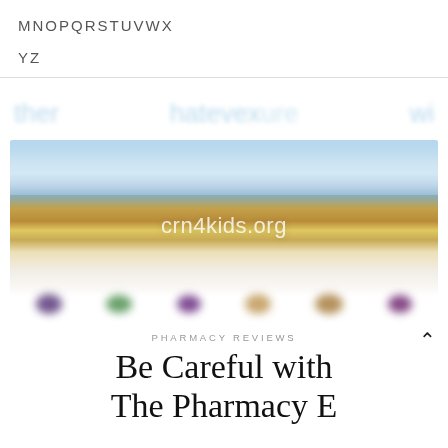M N O P Q R S T U V W X Y Z
[Figure (screenshot): Blurred screenshot of a website showing an autumn landscape with mountains and blue sky, a watermark reading crn4kids.org, and a row of blurred colored dots/pills at the bottom. Blurred overlaid text reads 'ther', 'hatevexture', 'wi'.]
PHARMACY REVIEWS
Be Careful with The Pharmacy E...